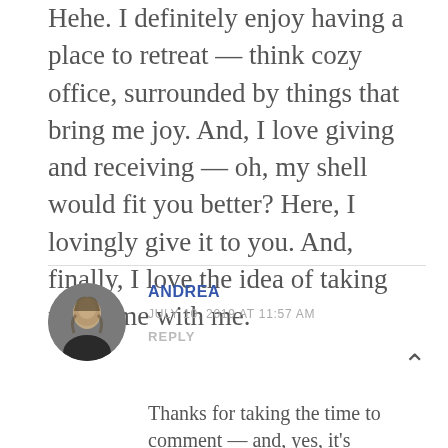Hehe. I definitely enjoy having a place to retreat — think cozy office, surrounded by things that bring me joy. And, I love giving and receiving — oh, my shell would fit you better? Here, I lovingly give it to you. And, finally, I love the idea of taking my home with me.
ANDREA
JULY 10, 2019 AT 11:57 AM
REPLY
Thanks for taking the time to comment — and, yes, it's